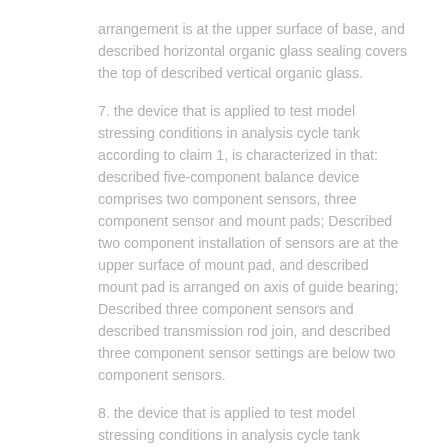arrangement is at the upper surface of base, and described horizontal organic glass sealing covers the top of described vertical organic glass.
7. the device that is applied to test model stressing conditions in analysis cycle tank according to claim 1, is characterized in that: described five-component balance device comprises two component sensors, three component sensor and mount pads; Described two component installation of sensors are at the upper surface of mount pad, and described mount pad is arranged on axis of guide bearing; Described three component sensors and described transmission rod join, and described three component sensor settings are below two component sensors.
8. the device that is applied to test model stressing conditions in analysis cycle tank according to claim 7, is characterized in that: described three component sensors join by joint flange and described transmission rod.
9. according to the device that is applied to test model stressing conditions in analysis cycle tank described in